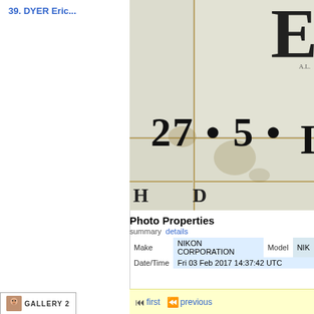39. DYER Eric...
[Figure (photo): Close-up photograph of a tiled stone plaque or tombstone showing partial text and numerals '27 • 5 •' with a large letter visible at top right and bottom letters partially visible. Tiles are white/grey with brown grout lines and some staining.]
Photo Properties
summary  details
| Make |  | Model |  |
| --- | --- | --- | --- |
| Make | NIKON CORPORATION | Model | NIK |
| Date/Time | Fri 03 Feb 2017 14:37:42 UTC |  |  |
first  previous
[Figure (logo): Gallery 2 logo badge with small face icon]